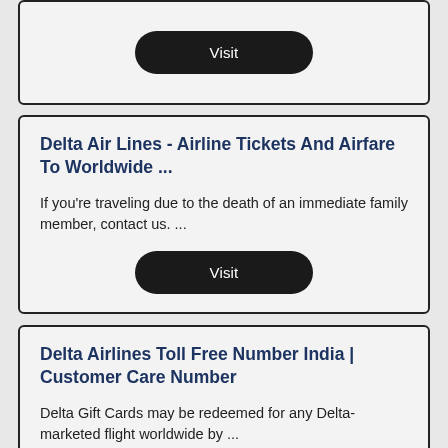[Figure (screenshot): Visit button in dark rounded pill shape at top of page, partially visible card]
Delta Air Lines - Airline Tickets And Airfare To Worldwide ...
If you’re traveling due to the death of an immediate family member, contact us. ...
[Figure (screenshot): Visit button in dark rounded pill shape]
Delta Airlines Toll Free Number India | Customer Care Number
Delta Gift Cards may be redeemed for any Delta-marketed flight worldwide by ...